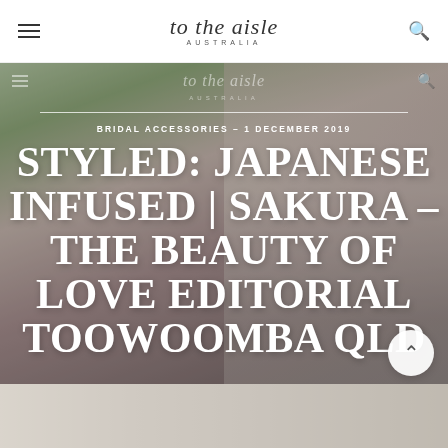to the aisle AUSTRALIA
[Figure (photo): A bride in a white dress among pink sakura cherry blossom trees, background editorial photo for Japanese-infused wedding styled shoot in Toowoomba QLD]
BRIDAL ACCESSORIES – 1 DECEMBER 2019
STYLED: JAPANESE INFUSED | SAKURA – THE BEAUTY OF LOVE EDITORIAL TOOWOOMBA QLD